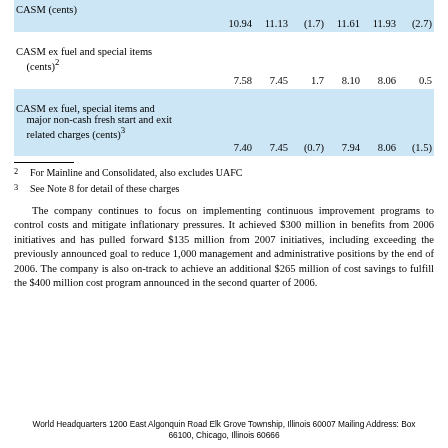|  |  |  |  |  |  |  |
| --- | --- | --- | --- | --- | --- | --- |
| CASM (cents) |  |  |  |  |  |  |
|  | 10.94 | 11.13 | (1.7) | 11.61 | 11.93 | (2.7) |
| CASM ex fuel and special items (cents)2 |  |  |  |  |  |  |
|  | 7.58 | 7.45 | 1.7 | 8.10 | 8.06 | 0.5 |
| CASM ex fuel, special items and major non-cash fresh start and exit related charges (cents)3 |  |  |  |  |  |  |
|  | 7.40 | 7.45 | (0.7) | 7.94 | 8.06 | (1.5) |
2   For Mainline and Consolidated, also excludes UAFC
3   See Note 8 for detail of these charges
The company continues to focus on implementing continuous improvement programs to control costs and mitigate inflationary pressures. It achieved $300 million in benefits from 2006 initiatives and has pulled forward $135 million from 2007 initiatives, including exceeding the previously announced goal to reduce 1,000 management and administrative positions by the end of 2006. The company is also on-track to achieve an additional $265 million of cost savings to fulfill the $400 million cost program announced in the second quarter of 2006.
World Headquarters 1200 East Algonquin Road Elk Grove Township, Illinois 60007 Mailing Address: Box 66100, Chicago, Illinois 60666